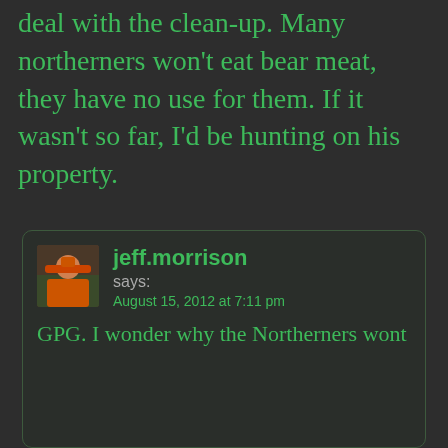deal with the clean-up. Many northerners won't eat bear meat, they have no use for them. If it wasn't so far, I'd be hunting on his property.
jeff.morrison says: August 15, 2012 at 7:11 pm
GPG. I wonder why the Northerners wont